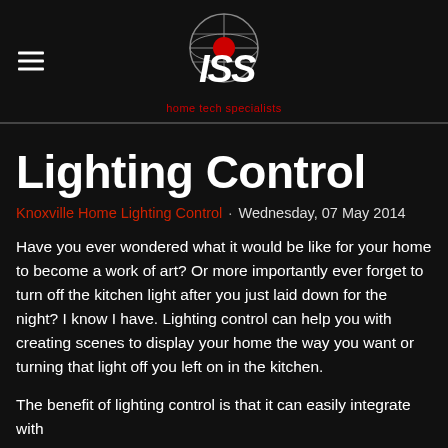[Figure (logo): ISS Home Tech Specialists logo with globe graphic and red dot, white text, red tagline 'home tech specialists']
Lighting Control
Knoxville Home Lighting Control · Wednesday, 07 May 2014
Have you ever wondered what it would be like for your home to become a work of art? Or more importantly ever forget to turn off the kitchen light after you just laid down for the night? I know I have. Lighting control can help you with creating scenes to display your home the way you want or turning that light off you left on in the kitchen.
The benefit of lighting control is that it can easily integrate with